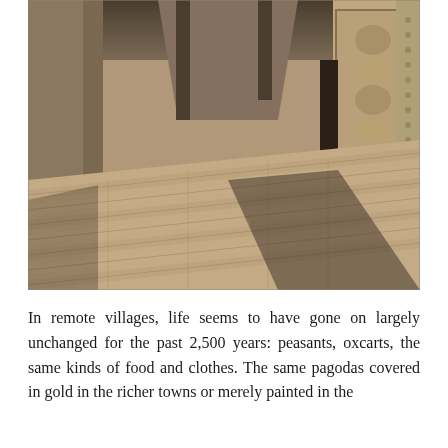[Figure (photo): Sepia-toned historical photograph of a wooden corridor or veranda of a pagoda/temple, with ornately carved wooden pillars and columns on either side, worn wooden plank flooring stretching into the distance. The image has a watermark overlay.]
In remote villages, life seems to have gone on largely unchanged for the past 2,500 years: peasants, oxcarts, the same kinds of food and clothes. The same pagodas covered in gold in the richer towns or merely painted in the